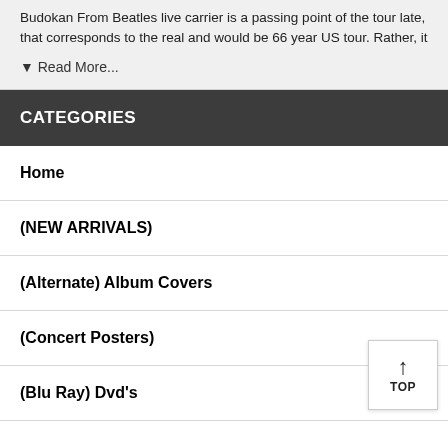Budokan From Beatles live carrier is a passing point of the tour late, that corresponds to the real and would be 66 year US tour. Rather, it
▾ Read More...
CATEGORIES
Home
(NEW ARRIVALS)
(Alternate) Album Covers
(Concert Posters)
(Blu Ray) Dvd's